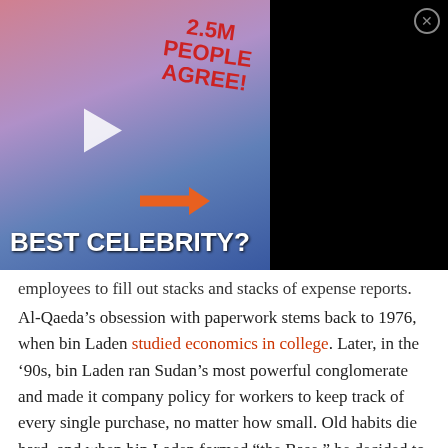[Figure (screenshot): Advertisement banner showing two people (woman and man in suit), text '2.5M PEOPLE AGREE!' in red on white background, orange arrow, text 'BEST CELEBRITY?' in white bold at bottom. Black sidebar with headline: 'Why 2.5 Million People Voted Tom Hanks As The Ultimate Celebrity'. Close button (X) in top right corner.]
employees to fill out stacks and stacks of expense reports.
Al-Qaeda’s obsession with paperwork stems back to 1976, when bin Laden studied economics in college. Later, in the ‘90s, bin Laden ran Sudan’s most powerful conglomerate and made it company policy for workers to keep track of every single purchase, no matter how small. Old habits die hard, and when bin Laden formed “the Base,” he decided to run the organization like a corporation.
It doesn’t matter if they buy a cache of weapons or a bottle of mustard, Al-Qaeda operatives have to get receipts for everything. When UN Peacekeepers searched an abandoned base in Timbuktu, they found over 100 receipts for soap, macaroni, glue, and even a broom. And